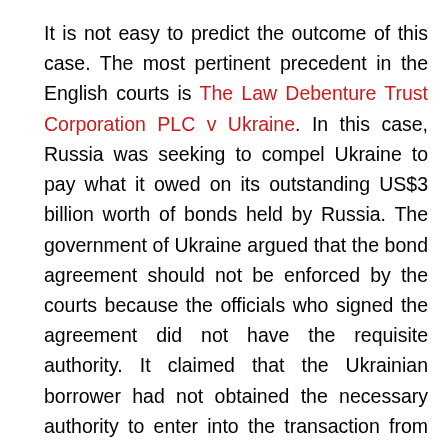It is not easy to predict the outcome of this case. The most pertinent precedent in the English courts is The Law Debenture Trust Corporation PLC v Ukraine. In this case, Russia was seeking to compel Ukraine to pay what it owed on its outstanding US$3 billion worth of bonds held by Russia. The government of Ukraine argued that the bond agreement should not be enforced by the courts because the officials who signed the agreement did not have the requisite authority. It claimed that the Ukrainian borrower had not obtained the necessary authority to enter into the transaction from the Parliament and the creditor knew or should have known this. Unfortunately, the English courts ruled against Ukraine. It held that that under English law, the courts will follow the lead of the English government which has decided that if the state is